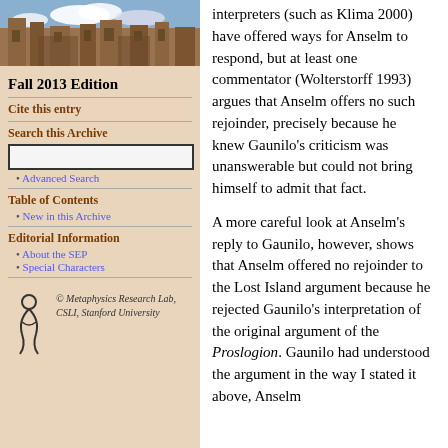[Figure (photo): Photo of a stone university building with gothic architecture and blue sky with clouds]
Fall 2013 Edition
Cite this entry
Search this Archive
Advanced Search
Table of Contents
New in this Archive
Editorial Information
About the SEP
Special Characters
[Figure (logo): Metaphysics Research Lab logo — stylized figure]
© Metaphysics Research Lab, CSLI, Stanford University
interpreters (such as Klima 2000) have offered ways for Anselm to respond, but at least one commentator (Wolterstorff 1993) argues that Anselm offers no such rejoinder, precisely because he knew Gaunilo's criticism was unanswerable but could not bring himself to admit that fact.
A more careful look at Anselm's reply to Gaunilo, however, shows that Anselm offered no rejoinder to the Lost Island argument because he rejected Gaunilo's interpretation of the original argument of the Proslogion. Gaunilo had understood the argument in the way I stated it above, Anselm